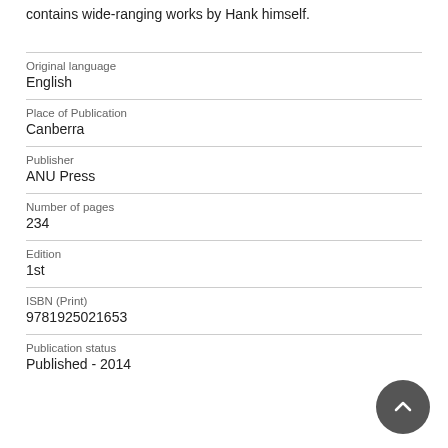contains wide-ranging works by Hank himself.
| Original language | English |
| Place of Publication | Canberra |
| Publisher | ANU Press |
| Number of pages | 234 |
| Edition | 1st |
| ISBN (Print) | 9781925021653 |
| Publication status | Published - 2014 |